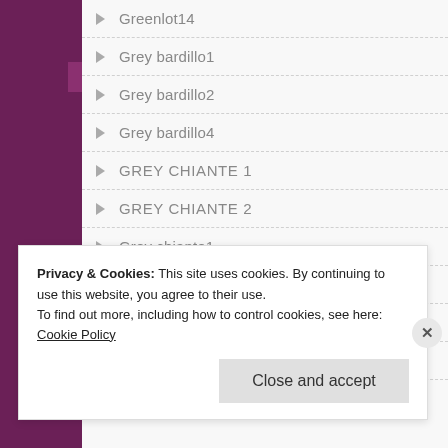Greenlot14
Grey bardillo1
Grey bardillo2
Grey bardillo4
GREY CHIANTE 1
GREY CHIANTE 2
Grey chiante1
Grey chiante2
GREY CHIGANI 1
Grey Chigani Marble
Privacy & Cookies: This site uses cookies. By continuing to use this website, you agree to their use.
To find out more, including how to control cookies, see here: Cookie Policy
Close and accept